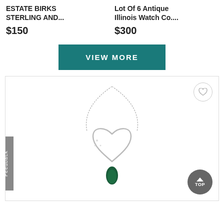ESTATE BIRKS STERLING AND...
Lot Of 6 Antique Illinois Watch Co....
$150
$300
VIEW MORE
[Figure (photo): Silver heart-shaped pendant necklace with a green teardrop gemstone drop, shown on a white background inside a product listing card. A heart/favorite icon button is in the top right of the card and a 'TOP' scroll button in the bottom right. A vertical 'Feedback' tab appears on the left edge.]